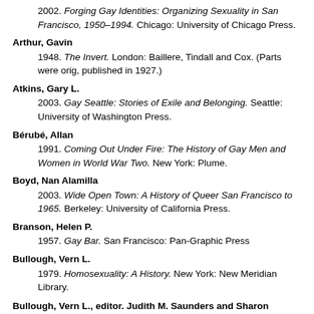2002. Forging Gay Identities: Organizing Sexuality in San Francisco, 1950–1994. Chicago: University of Chicago Press.
Arthur, Gavin
1948. The Invert. London: Baillere, Tindall and Cox. (Parts were orig, published in 1927.)
Atkins, Gary L.
2003. Gay Seattle: Stories of Exile and Belonging. Seattle: University of Washington Press.
Bérubé, Allan
1991. Coming Out Under Fire: The History of Gay Men and Women in World War Two. New York: Plume.
Boyd, Nan Alamilla
2003. Wide Open Town: A History of Queer San Francisco to 1965. Berkeley: University of California Press.
Branson, Helen P.
1957. Gay Bar. San Francisco: Pan-Graphic Press
Bullough, Vern L.
1979. Homosexuality: A History. New York: New Meridian Library.
Bullough, Vern L., editor. Judith M. Saunders and Sharon Valente, assoc. editors. C. Todd White, asst. editor.